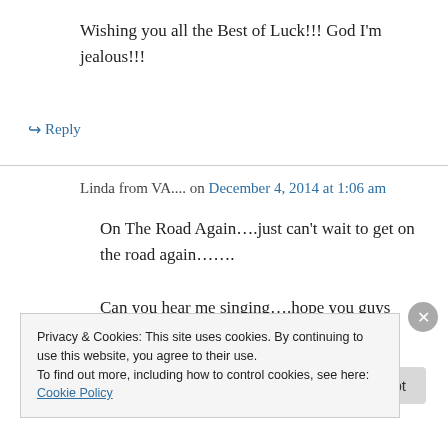Wishing you all the Best of Luck!!! God I'm jealous!!!
↪ Reply
Linda from VA.... on December 4, 2014 at 1:06 am
On The Road Again….just can't wait to get on the road again…….
Can you hear me singing….hope you guys are having fun….
Privacy & Cookies: This site uses cookies. By continuing to use this website, you agree to their use.
To find out more, including how to control cookies, see here: Cookie Policy
Close and accept